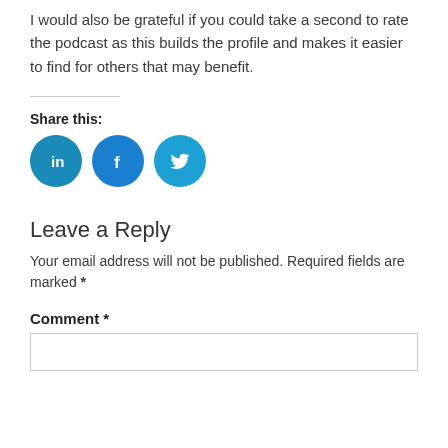I would also be grateful if you could take a second to rate the podcast as this builds the profile and makes it easier to find for others that may benefit.
Share this:
[Figure (other): Three circular social media share buttons: LinkedIn (in), Facebook (f), Twitter (bird icon)]
Leave a Reply
Your email address will not be published. Required fields are marked *
Comment *